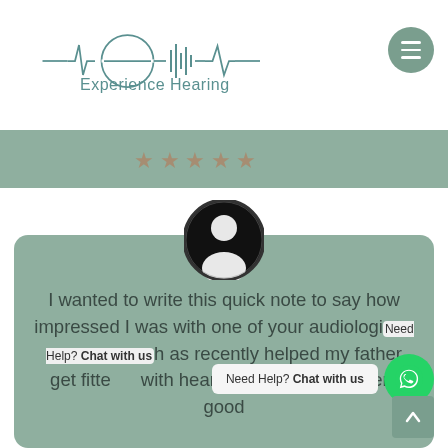[Figure (logo): Experience Hearing logo with soundwave/EKG waveform incorporating a circular 'e' shape, in teal/green color]
[Figure (other): Green menu hamburger button (three horizontal lines) in a circular teal button]
[Figure (other): Green banner strip with star rating icons (partially visible)]
[Figure (photo): Circular profile silhouette avatar - black and white photo of person's head silhouette]
I wanted to write this quick note to say how impressed I was with one of your audiologi[st who h]as recently helped my father get fitte[d] with hearing aids. She has very good
[Figure (other): WhatsApp chat widget showing 'Need Help? Chat with us' with green WhatsApp icon]
[Figure (other): Scroll to top button with upward arrow, teal colored]